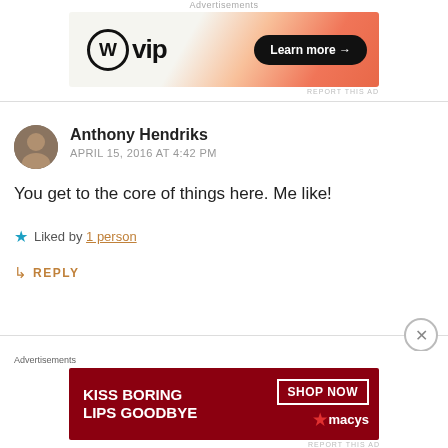[Figure (screenshot): WordPress VIP advertisement banner with 'Learn more →' button on orange gradient background]
REPORT THIS AD
Anthony Hendriks
APRIL 15, 2016 AT 4:42 PM
You get to the core of things here. Me like!
★ Liked by 1 person
↳ REPLY
Rev. Mike
[Figure (screenshot): Macy's advertisement banner: 'KISS BORING LIPS GOODBYE' with SHOP NOW button and Macy's star logo on dark red background]